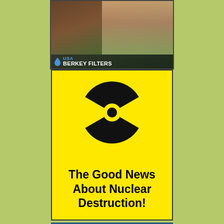[Figure (photo): USA Berkey Filters advertisement showing hands near a water filter outdoors on a stump, with blue water drop logo, 'USA' text in blue, and 'BERKEY FILTERS' in white bold text on dark background]
[Figure (infographic): Yellow advertisement box with black radiation/nuclear warning symbol at top and bold black text reading 'The Good News About Nuclear Destruction!']
[Figure (infographic): Light blue advertisement box with white text reading 'Browse the Newest Books on our shelves at BAM!']